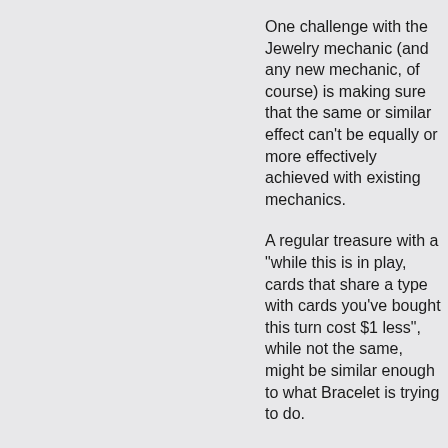One challenge with the Jewelry mechanic (and any new mechanic, of course) is making sure that the same or similar effect can't be equally or more effectively achieved with existing mechanics.
A regular treasure with a "while this is in play, cards that share a type with cards you've bought this turn cost $1 less", while not the same, might be similar enough to what Bracelet is trying to do.
Hmm, now I'm wondering about the other cards: Earrings compares to a regular treasure that said "When you play this, the next time you buy a card this turn, +$2 and gain a silver.", but that's different enough - you'd